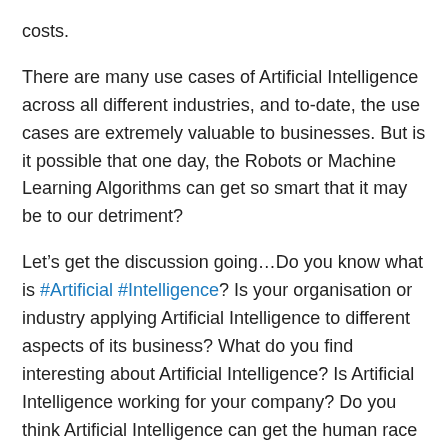costs.
There are many use cases of Artificial Intelligence across all different industries, and to-date, the use cases are extremely valuable to businesses. But is it possible that one day, the Robots or Machine Learning Algorithms can get so smart that it may be to our detriment?
Let’s get the discussion going…Do you know what is #Artificial #Intelligence? Is your organisation or industry applying Artificial Intelligence to different aspects of its business? What do you find interesting about Artificial Intelligence? Is Artificial Intelligence working for your company? Do you think Artificial Intelligence can get the human race in trouble one day? What’s your thoughts on Artificial Intelligence?